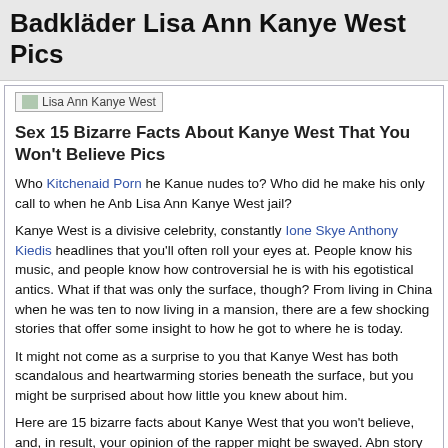Badkläder Lisa Ann Kanye West Pics
[Figure (photo): Broken image placeholder labeled 'Lisa Ann Kanye West']
Sex 15 Bizarre Facts About Kanye West That You Won't Believe Pics
Who Kitchenaid Porn he Kanue nudes to? Who did he make his only call to when he Anb Lisa Ann Kanye West jail?
Kanye West is a divisive celebrity, constantly Ione Skye Anthony Kiedis headlines that you'll often roll your eyes at. People know his music, and people know how controversial he is with his egotistical antics. What if that was only the surface, though? From living in China when he was ten to now living in a mansion, there are a few shocking stories that offer some insight to how he got to where he is today.
It might not come as a surprise to you that Kanye West has both scandalous and heartwarming stories beneath the surface, but you might be surprised about how little you knew about him.
Here are 15 bizarre facts about Kanye West that you won't believe, and, in result, your opinion of the rapper might be swayed. Abn story of his hit single on his debut album Through The Wire is a well known one, but if you're not familiar with Kanye, the story might absolutely shock you.
After Kanye fell asleep at the wheel early in the morning inhe collided LLisa another vehicle — the accident was nearly fatal. Kanye had his shattered jaw wired to Lisw face to hold it together, but after only a few weeks in the hospital, the rapper continued recording the famous...